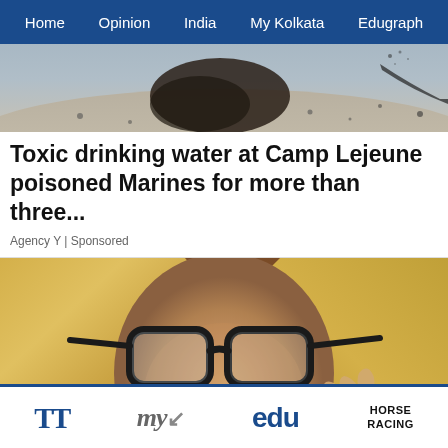Home  Opinion  India  My Kolkata  Edugraph
[Figure (photo): Outdoor scene showing ground/terrain with scattered dark spots, possibly military or desert environment]
Toxic drinking water at Camp Lejeune poisoned Marines for more than three...
Agency Y | Sponsored
[Figure (photo): Close-up of a blonde woman with large dark-framed glasses, wearing dangling earrings, gesturing with her right hand, brown background]
TT  my  edu  HORSE RACING